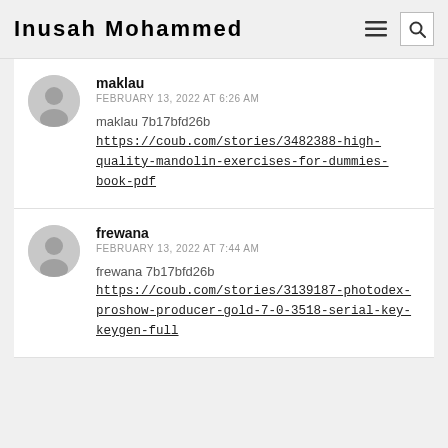Inusah Mohammed
maklau
FEBRUARY 13, 2022 AT 6:26 AM
maklau 7b17bfd26b
https://coub.com/stories/3482388-high-quality-mandolin-exercises-for-dummies-book-pdf
frewana
FEBRUARY 13, 2022 AT 7:44 AM
frewana 7b17bfd26b
https://coub.com/stories/3139187-photodex-proshow-producer-gold-7-0-3518-serial-key-keygen-full